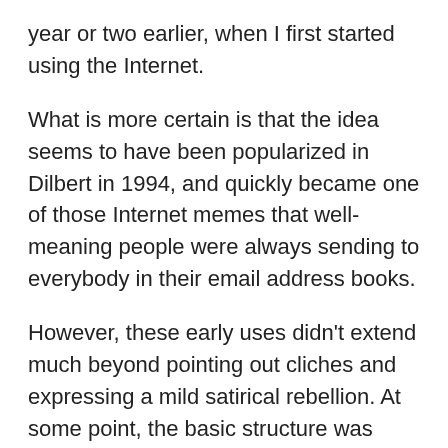year or two earlier, when I first started using the Internet.
What is more certain is that the idea seems to have been popularized in Dilbert in 1994, and quickly became one of those Internet memes that well-meaning people were always sending to everybody in their email address books.
However, these early uses didn't extend much beyond pointing out cliches and expressing a mild satirical rebellion. At some point, the basic structure was taken over by feminist thinkers and became more politicized.
One possible inspiration for this second generation card is Joanna Russ' 1983 book, How to Suppress Women's Writing, whose cover summarizes all the ways to dismiss or minimalize women's writing in a way that is reminiscent of the bingo card. But this attribution may be too narrow. It